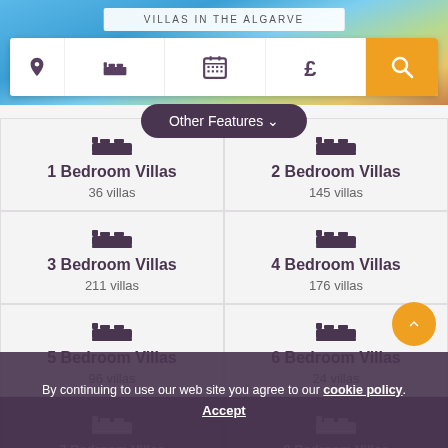[Figure (screenshot): Travel website screenshot showing villa search page for Villas in the Algarve]
VILLAS IN THE ALGARVE
[Figure (screenshot): Search bar with location, bed, calendar, price icons and orange search button]
Other Features
Start here
1 Bedroom Villas
36 villas
2 Bedroom Villas
145 villas
3 Bedroom Villas
211 villas
4 Bedroom Villas
176 villas
5 Bedroom Villas
96 villas
6 Bedroom Villas
24 villas
7 Bedroom Villas
8 Bedroom Villas
By continuing to use our web site you agree to our cookie policy. Accept